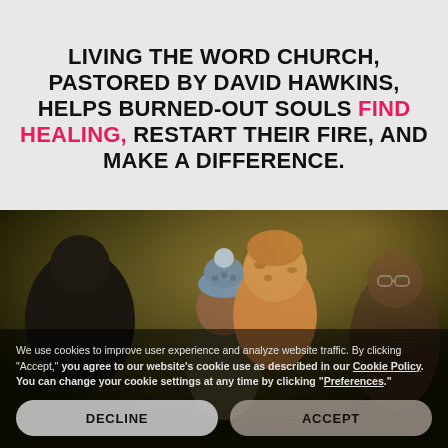LIVING THE WORD CHURCH, PASTORED BY DAVID HAWKINS, HELPS BURNED-OUT SOULS FIND HEALING, RESTART THEIR FIRE, AND MAKE A DIFFERENCE.
[Figure (photo): Photo of a congregation including a child wearing a winter hat with a pom-pom and a woman in a leopard-print head wrap, with other people in background. A cookie consent banner overlays the bottom of the image.]
We use cookies to improve user experience and analyze website traffic. By clicking "Accept," you agree to our website's cookie use as described in our Cookie Policy. You can change your cookie settings at any time by clicking "Preferences."